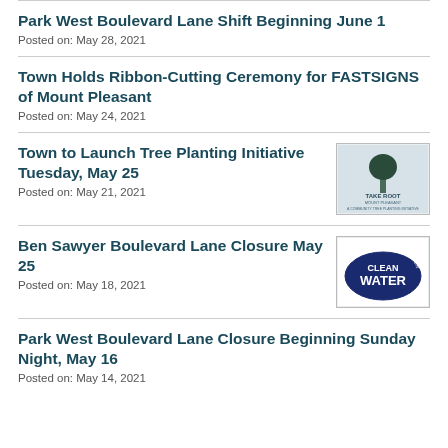Park West Boulevard Lane Shift Beginning June 1
Posted on: May 28, 2021
Town Holds Ribbon-Cutting Ceremony for FASTSIGNS of Mount Pleasant
Posted on: May 24, 2021
Town to Launch Tree Planting Initiative Tuesday, May 25
Posted on: May 21, 2021
[Figure (logo): Take Root Mount Pleasant - A Community Tree Planting Initiative logo with tree silhouette]
Ben Sawyer Boulevard Lane Closure May 25
Posted on: May 18, 2021
[Figure (logo): Mount Pleasant Waterworks Clean Water oval logo]
Park West Boulevard Lane Closure Beginning Sunday Night, May 16
Posted on: May 14, 2021